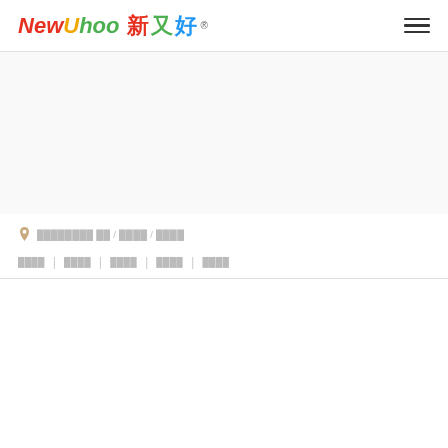NewUhoo 新又好® [hamburger menu icon]
[Figure (other): Large empty/white banner image area below the header navigation]
📍 ████████ ██ / ████ / ████
████ | ████ | ████ | ████ | ████